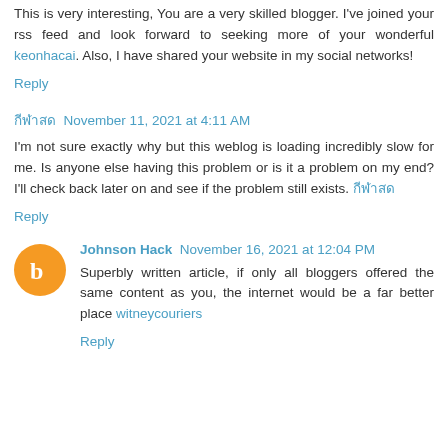This is very interesting, You are a very skilled blogger. I've joined your rss feed and look forward to seeking more of your wonderful keonhacai. Also, I have shared your website in my social networks!
Reply
กีฬาสด November 11, 2021 at 4:11 AM
I'm not sure exactly why but this weblog is loading incredibly slow for me. Is anyone else having this problem or is it a problem on my end? I'll check back later on and see if the problem still exists. กีฬาสด
Reply
Johnson Hack  November 16, 2021 at 12:04 PM
Superbly written article, if only all bloggers offered the same content as you, the internet would be a far better place witneycouriers
Reply